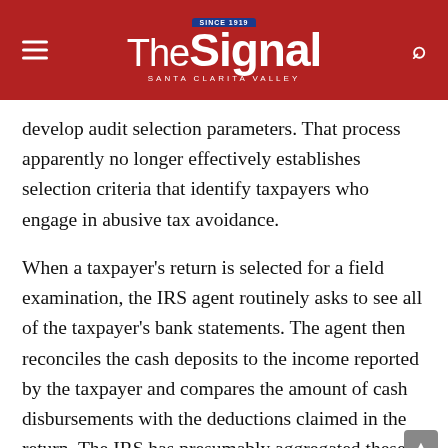The Signal — Santa Clarita Valley (Since 1919)
develop audit selection parameters. That process apparently no longer effectively establishes selection criteria that identify taxpayers who engage in abusive tax avoidance.
When a taxpayer's return is selected for a field examination, the IRS agent routinely asks to see all of the taxpayer's bank statements. The agent then reconciles the cash deposits to the income reported by the taxpayer and compares the amount of cash disbursements with the deductions claimed in the return. The IRS has presumably aggregated these